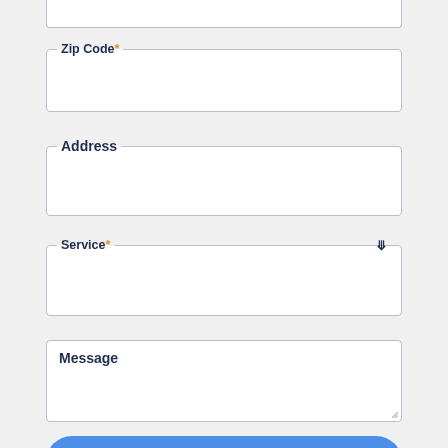[Figure (screenshot): Partial form field at top of page (cut off), empty input box]
Zip Code*
Address
Service*
Message
Submit